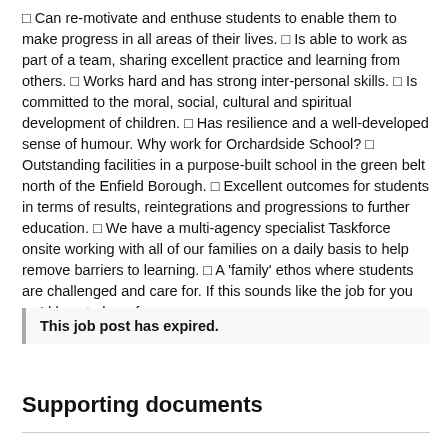□ Can re-motivate and enthuse students to enable them to make progress in all areas of their lives. □ Is able to work as part of a team, sharing excellent practice and learning from others. □ Works hard and has strong inter-personal skills. □ Is committed to the moral, social, cultural and spiritual development of children. □ Has resilience and a well-developed sense of humour. Why work for Orchardside School? □ Outstanding facilities in a purpose-built school in the green belt north of the Enfield Borough. □ Excellent outcomes for students in terms of results, reintegrations and progressions to further education. □ We have a multi-agency specialist Taskforce onsite working with all of our families on a daily basis to help remove barriers to learning. □ A 'family' ethos where students are challenged and care for. If this sounds like the job for you we'd love to hear from you.
This job post has expired.
Supporting documents